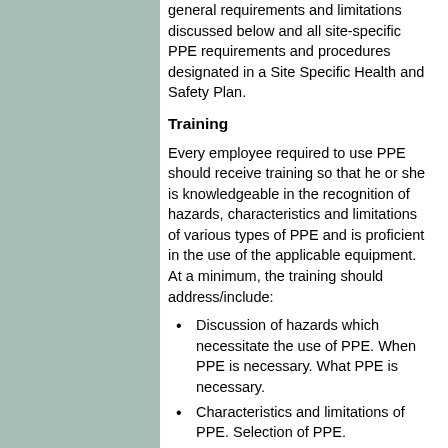general requirements and limitations discussed below and all site-specific PPE requirements and procedures designated in a Site Specific Health and Safety Plan.
Training
Every employee required to use PPE should receive training so that he or she is knowledgeable in the recognition of hazards, characteristics and limitations of various types of PPE and is proficient in the use of the applicable equipment. At a minimum, the training should address/include:
Discussion of hazards which necessitate the use of PPE. When PPE is necessary. What PPE is necessary.
Characteristics and limitations of PPE. Selection of PPE.
Requirements for medical evaluation of certain users.
Inspection of PPE prior to use. Proper donning/adjustment/use procedures. Decontamination/doffing, disposal procedures.
Maintenance, cleaning, and storage of PPE.